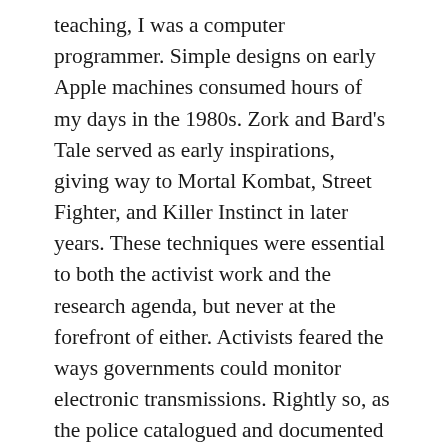teaching, I was a computer programmer. Simple designs on early Apple machines consumed hours of my days in the 1980s. Zork and Bard's Tale served as early inspirations, giving way to Mortal Kombat, Street Fighter, and Killer Instinct in later years. These techniques were essential to both the activist work and the research agenda, but never at the forefront of either. Activists feared the ways governments could monitor electronic transmissions. Rightly so, as the police catalogued and documented communications prior to protests against the 1999 World Trade Organization meetings and the 2000 Republican National Convention. Historians, well, tend to prefer bound leather and